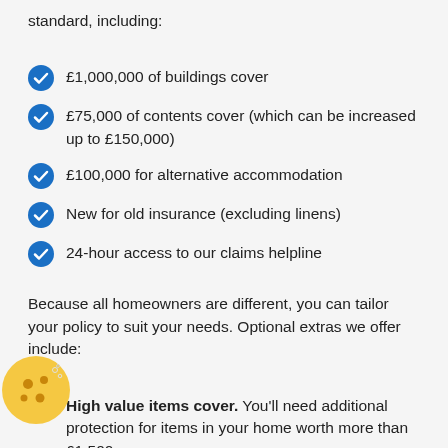standard, including:
£1,000,000 of buildings cover
£75,000 of contents cover (which can be increased up to £150,000)
£100,000 for alternative accommodation
New for old insurance (excluding linens)
24-hour access to our claims helpline
Because all homeowners are different, you can tailor your policy to suit your needs. Optional extras we offer include:
High value items cover. You'll need additional protection for items in your home worth more than £1,500.
Portable property protection. This covers items taken